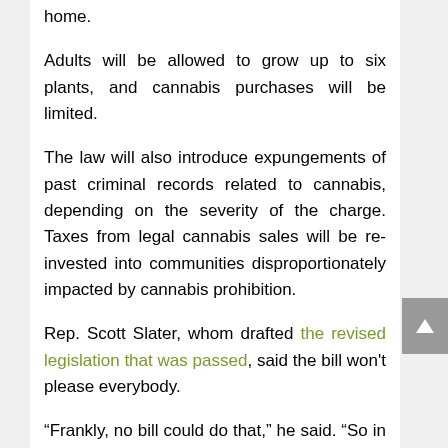home.
Adults will be allowed to grow up to six plants, and cannabis purchases will be limited.
The law will also introduce expungements of past criminal records related to cannabis, depending on the severity of the charge. Taxes from legal cannabis sales will be re-invested into communities disproportionately impacted by cannabis prohibition.
Rep. Scott Slater, whom drafted the revised legislation that was passed, said the bill won't please everybody.
“Frankly, no bill could do that,” he said. “So in the many years it has taken to get this bill to